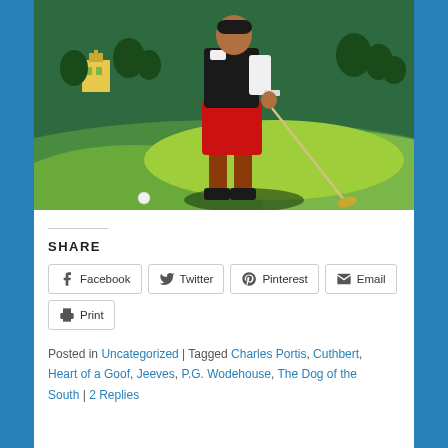[Figure (illustration): Vintage illustration of a golfer in red knickerbockers and dark top, holding a golf club, standing on a green golf course with rolling hills and a yellow building visible in the background. A golf ball is visible near the ground.]
SHARE
Facebook  Twitter  Pinterest  Email  Print
Posted in Uncategorized | Tagged Charles Portis, Cuthbert, Heart of a Goof, Jeeves, P.G. Wodehouse, The Dog of the South | 2 Replies